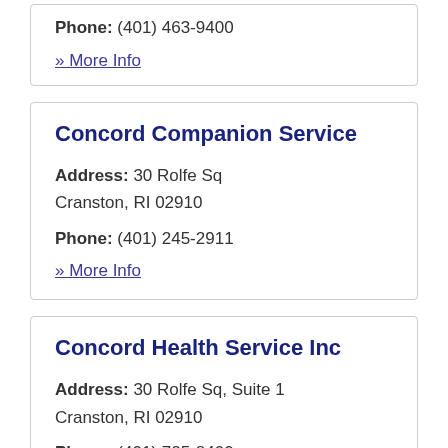Phone: (401) 463-9400
» More Info
Concord Companion Service
Address: 30 Rolfe Sq
Cranston, RI 02910
Phone: (401) 245-2911
» More Info
Concord Health Service Inc
Address: 30 Rolfe Sq, Suite 1
Cranston, RI 02910
Phone: (401) 725-8400